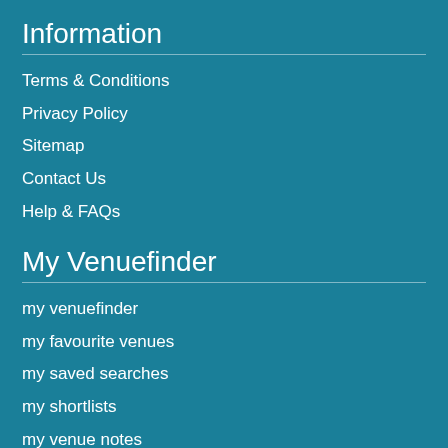Information
Terms & Conditions
Privacy Policy
Sitemap
Contact Us
Help & FAQs
My Venuefinder
my venuefinder
my favourite venues
my saved searches
my shortlists
my venue notes
my registration details
Advertise
advertiser login